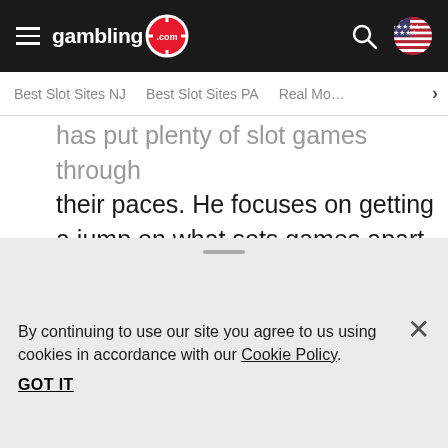gambling.com
Best Slot Sites NJ | Best Slot Sites PA | Real Mo…
…has put plenty of slot games through their paces. He focuses on getting a jump on what sets games apart from a jackpot, feature and thematic standpoint ahead of their release.
By continuing to use our site you agree to us using cookies in accordance with our Cookie Policy.
GOT IT